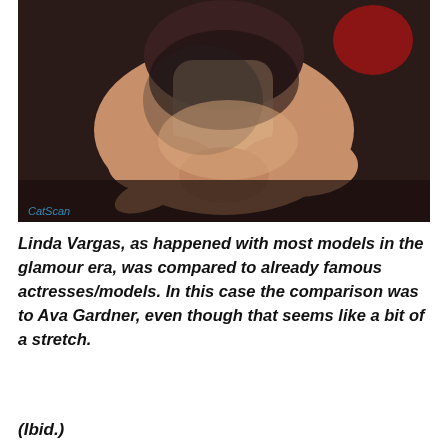[Figure (photo): A glamour-era photograph of a woman posing on a dark surface, wearing dark lingerie with a red accessory visible. The image has a 'CatScan' watermark in blue in the lower-left corner.]
Linda Vargas, as happened with most models in the glamour era, was compared to already famous actresses/models. In this case the comparison was to Ava Gardner, even though that seems like a bit of a stretch.
(Ibid.)